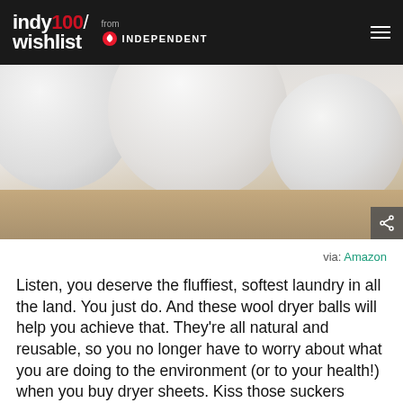indy100/ wishlist from INDEPENDENT
[Figure (photo): Close-up photo of white wool dryer balls on a wooden surface]
via: Amazon
Listen, you deserve the fluffiest, softest laundry in all the land. You just do. And these wool dryer balls will help you achieve that. They're all natural and reusable, so you no longer have to worry about what you are doing to the environment (or to your health!) when you buy dryer sheets. Kiss those suckers goodbye forever and replace them with these to get the softest laundry on the planet!